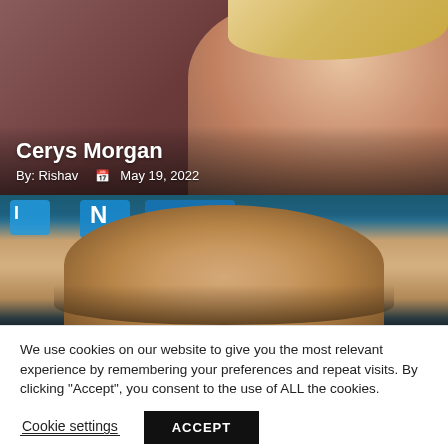[Figure (photo): Photo of a woman (Cerys Morgan) with blonde hair, smiling, wearing a red outfit, on a dark red/maroon background]
Cerys Morgan
By: Rishav  📅 May 19, 2022
[Figure (photo): Close-up photo of a bald man's head from behind/above, with blue graphic elements in the background]
We use cookies on our website to give you the most relevant experience by remembering your preferences and repeat visits. By clicking “Accept”, you consent to the use of ALL the cookies.
Cookie settings   ACCEPT